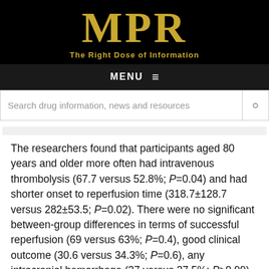[Figure (logo): MPR logo — black background with gold serif letters 'MPR' and gold tagline 'The Right Dose of Information']
MENU ≡
Search drug information, news and resources
The researchers found that participants aged 80 years and older more often had intravenous thrombolysis (67.7 versus 52.8%; P=0.04) and had shorter onset to reperfusion time (318.7±128.7 versus 282±53.5; P=0.02). There were no significant between-group differences in terms of successful reperfusion (69 versus 63%; P=0.4), good clinical outcome (30.6 versus 34.3%; P=0.6), any intracranial hemorrhage (37 versus 37.5%; P>0.99), symptomatic intracranial hemorrhage